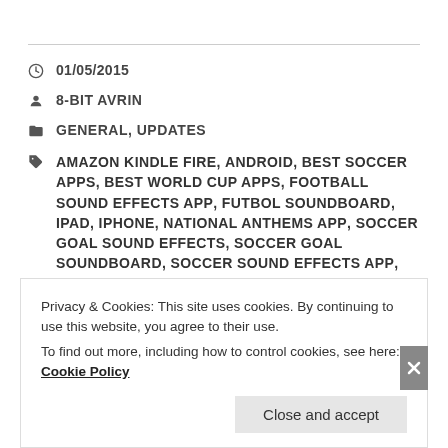01/05/2015
8-BIT AVRIN
GENERAL, UPDATES
AMAZON KINDLE FIRE, ANDROID, BEST SOCCER APPS, BEST WORLD CUP APPS, FOOTBALL SOUND EFFECTS APP, FUTBOL SOUNDBOARD, IPAD, IPHONE, NATIONAL ANTHEMS APP, SOCCER GOAL SOUND EFFECTS, SOCCER GOAL SOUNDBOARD, SOCCER SOUND EFFECTS APP, SURFACE, TOP BEST SOCCER APPS, WINDOWS, WORD CUP
Privacy & Cookies: This site uses cookies. By continuing to use this website, you agree to their use.
To find out more, including how to control cookies, see here: Cookie Policy
Close and accept